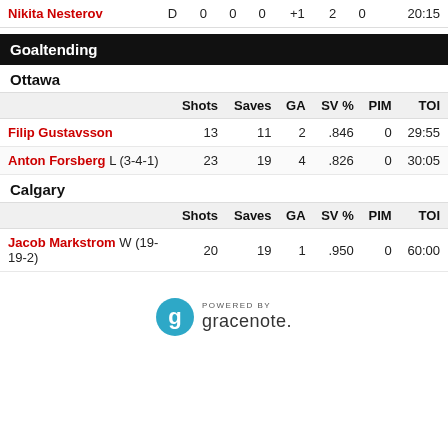|  | D | 0 | 0 | 0 | +1 | 2 | 0 | 20:15 |
| --- | --- | --- | --- | --- | --- | --- | --- | --- |
| Nikita Nesterov | D | 0 | 0 | 0 | +1 | 2 | 0 | 20:15 |
Goaltending
Ottawa
|  | Shots | Saves | GA | SV % | PIM | TOI |
| --- | --- | --- | --- | --- | --- | --- |
| Filip Gustavsson | 13 | 11 | 2 | .846 | 0 | 29:55 |
| Anton Forsberg L (3-4-1) | 23 | 19 | 4 | .826 | 0 | 30:05 |
Calgary
|  | Shots | Saves | GA | SV % | PIM | TOI |
| --- | --- | --- | --- | --- | --- | --- |
| Jacob Markstrom W (19-19-2) | 20 | 19 | 1 | .950 | 0 | 60:00 |
[Figure (logo): Powered by Gracenote logo]